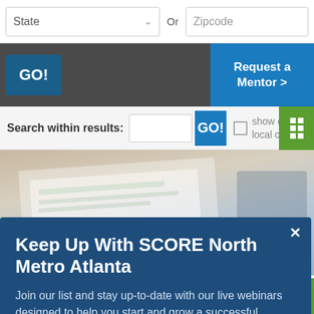[Figure (screenshot): State dropdown and Zipcode input field in a search form]
[Figure (screenshot): Dark action bar with GO! button and Request a Mentor button]
[Figure (screenshot): Search within results bar with search input, GO! button, show only local content checkbox, and green grid view button]
[Figure (screenshot): Modal popup with blue background: title Keep Up With SCORE North Metro Atlanta, body text about joining list for live webinars, and email address submit form]
[Figure (photo): Blurry background photo of a desk with papers and laptop]
12 Funding Options for Bl...
Blog